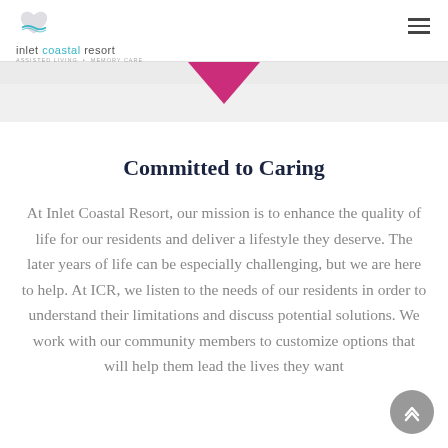inlet coastal resort — ASSISTED LIVING + MEMORY CARE
[Figure (illustration): Pink downward-pointing triangle/chevron decorative divider]
Committed to Caring
At Inlet Coastal Resort, our mission is to enhance the quality of life for our residents and deliver a lifestyle they deserve. The later years of life can be especially challenging, but we are here to help. At ICR, we listen to the needs of our residents in order to understand their limitations and discuss potential solutions. We work with our community members to customize options that will help them lead the lives they want